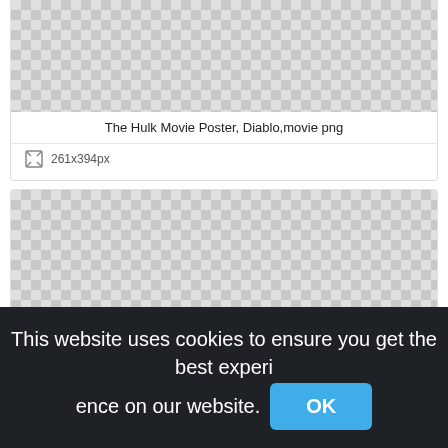[Figure (other): Checkerboard pattern representing a transparent image area — top card image preview]
The Hulk Movie Poster, Diablo,movie png
261x394px
[Figure (other): Checkerboard pattern representing a transparent image area — second card image preview]
This website uses cookies to ensure you get the best experience on our website.
OK